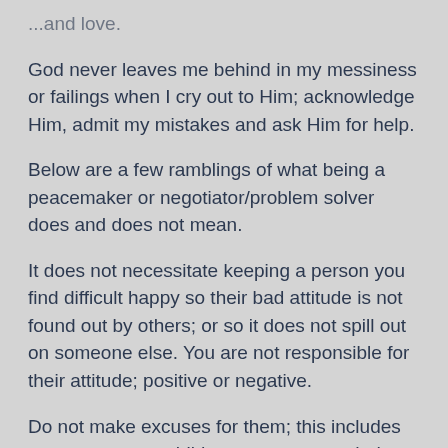...and love.
God never leaves me behind in my messiness or failings when I cry out to Him; acknowledge Him, admit my mistakes and ask Him for help.
Below are a few ramblings of what being a peacemaker or negotiator/problem solver does and does not mean.
It does not necessitate keeping a person you find difficult happy so their bad attitude is not found out by others; or so it does not spill out on someone else. You are not responsible for their attitude; positive or negative.
Do not make excuses for them; this includes excuses to your children or your extended family. You do not...